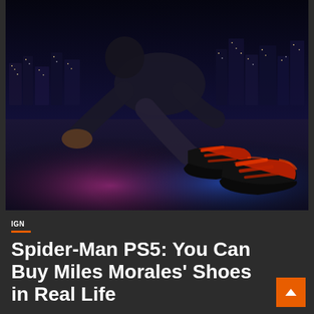[Figure (photo): A crouching figure (Miles Morales / Spider-Man) on a rooftop at night, wearing distinctive red and black Adidas sneakers with orange stripes. The rooftop is lit with pink and blue neon reflections. A city skyline with lights is visible in the background.]
IGN
Spider-Man PS5: You Can Buy Miles Morales' Shoes in Real Life